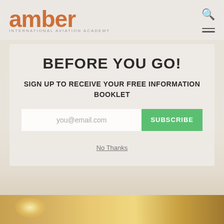amber INTERNATIONAL AVIATION ACADEMY
BEFORE YOU GO!
SIGN UP TO RECEIVE YOUR FREE INFORMATION BOOKLET
you@email.com
SUBSCRIBE
No Thanks
[Figure (photo): Bottom strip showing warm golden/amber tones with sparkle light effects, representing an aviation or outdoor scene.]